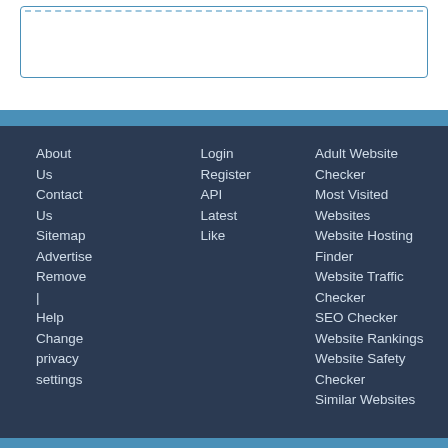About Us
Contact Us
Sitemap
Advertise
Remove | Help
Change privacy settings
Login
Register
API
Latest Like
Adult Website Checker
Most Visited Websites
Website Hosting Finder
Website Traffic Checker
SEO Checker
Website Rankings
Website Safety Checker
Similar Websites